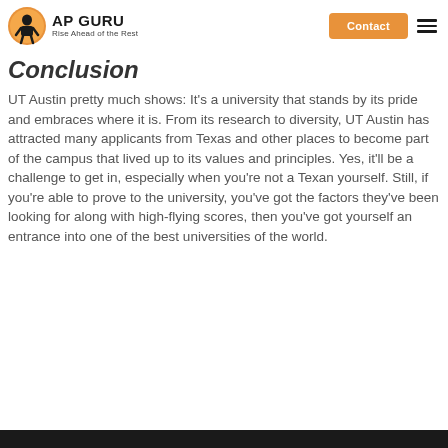AP GURU Rise Ahead of the Rest | Contact
Conclusion
UT Austin pretty much shows: It's a university that stands by its pride and embraces where it is. From its research to diversity, UT Austin has attracted many applicants from Texas and other places to become part of the campus that lived up to its values and principles. Yes, it'll be a challenge to get in, especially when you're not a Texan yourself. Still, if you're able to prove to the university, you've got the factors they've been looking for along with high-flying scores, then you've got yourself an entrance into one of the best universities of the world.